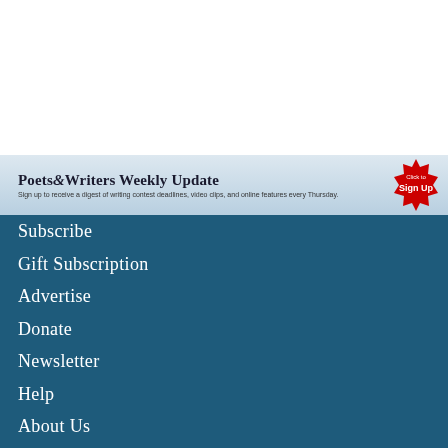[Figure (infographic): White space / blank top area]
Poets&Writers Weekly Update
Sign up to receive a digest of writing contest deadlines, video clips, and online features every Thursday.
[Figure (infographic): Red badge button with 'Click to Sign Up' text]
Subscribe
Gift Subscription
Advertise
Donate
Newsletter
Help
About Us
Contact Us
Privacy Policy